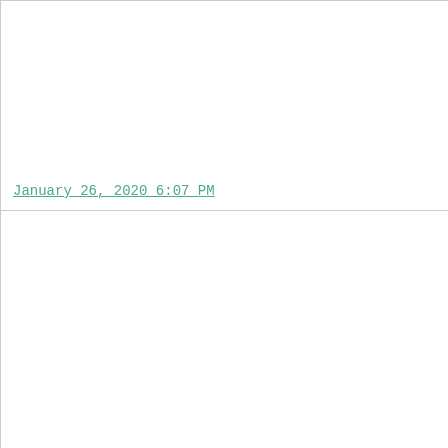| Date | Name | Details |
| --- | --- | --- |
| January 26, 2020 6:07 PM | IL Gotten Gains | TO... |
| January 23, 2020 8:39 PM | Milwaukee's Best | Xa...
V...
M... |
| January 21, 2020 8:59 PM | Inglorious Batsters | D...
L... |